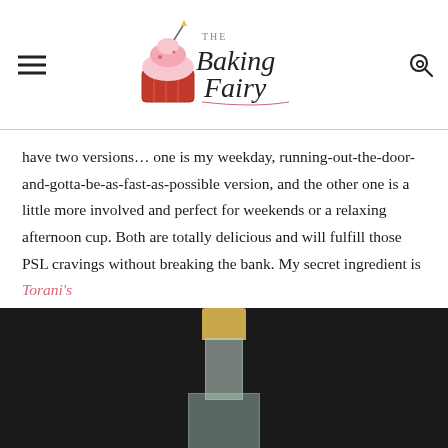The Baking Fairy
have two versions… one is my weekday, running-out-the-door-and-gotta-be-as-fast-as-possible version, and the other one is a little more involved and perfect for weekends or a relaxing afternoon cup. Both are totally delicious and will fulfill those PSL cravings without breaking the bank. My secret ingredient is Torani's Pumpkin PIE syrup! It makes the coffee so flavorful with no effort at all. Let's go whip up some lattes!
[Figure (photo): A glass bottle with a gold cap on a dark background, likely the Torani Pumpkin PIE syrup bottle.]